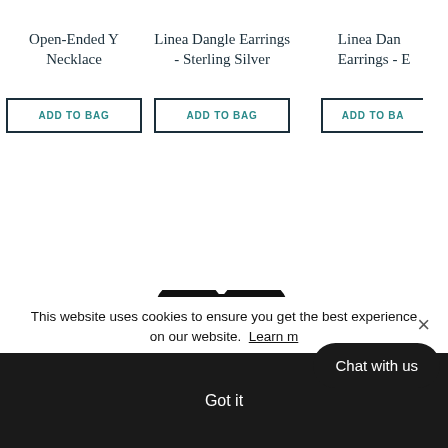Open-Ended Y Necklace
Linea Dangle Earrings - Sterling Silver
Linea Dangle Earrings - E
ADD TO BAG
ADD TO BAG
ADD TO BAG
[Figure (logo): Brand logo mark - stylized W shape in black]
This website uses cookies to ensure you get the best experience on our website. Learn m
Got it
Chat with us
×